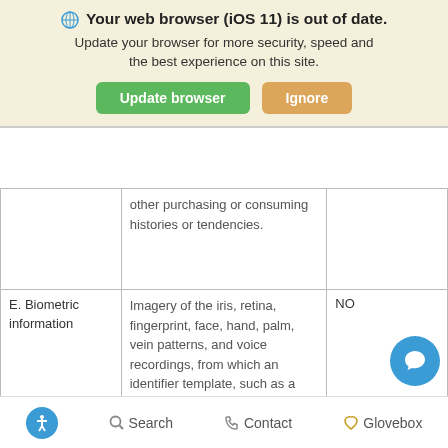[Figure (screenshot): Browser update banner: globe icon, bold text 'Your web browser (iOS 11) is out of date.', subtitle 'Update your browser for more security, speed and the best experience on this site.', green 'Update browser' button and orange 'Ignore' button]
|  | other purchasing or consuming histories or tendencies. |  |
| E. Biometric information | Imagery of the iris, retina, fingerprint, face, hand, palm, vein patterns, and voice recordings, from which an identifier template, such as a faceprint, a minutiae template, | NO |
🔵 Search  📞 Contact  ♡ Glovebox